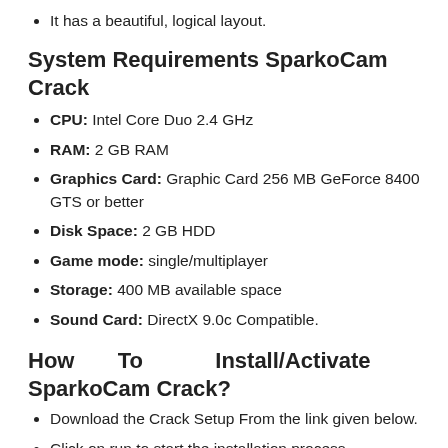It has a beautiful, logical layout.
System Requirements SparkoCam Crack
CPU: Intel Core Duo 2.4 GHz
RAM: 2 GB RAM
Graphics Card: Graphic Card 256 MB GeForce 8400 GTS or better
Disk Space: 2 GB HDD
Game mode: single/multiplayer
Storage: 400 MB available space
Sound Card: DirectX 9.0c Compatible.
How To Install/Activate SparkoCam Crack?
Download the Crack Setup From the link given below.
Click on run to start the installation process.